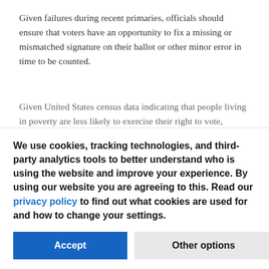Given failures during recent primaries, officials should ensure that voters have an opportunity to fix a missing or mismatched signature on their ballot or other minor error in time to be counted.
Given United States census data indicating that people living in poverty are less likely to exercise their right to vote, officials need to take additional steps to give low-income people easy access to the ballot box. The announced
We use cookies, tracking technologies, and third-party analytics tools to better understand who is using the website and improve your experience. By using our website you are agreeing to this. Read our privacy policy to find out what cookies are used for and how to change your settings.
Accept
Other options